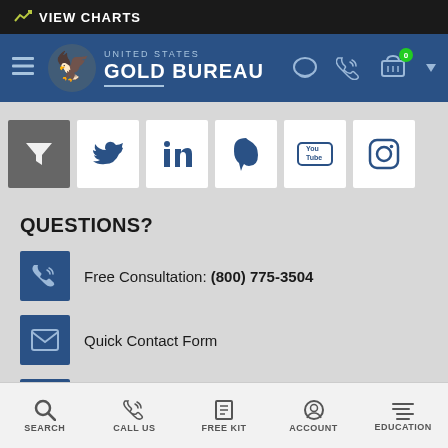VIEW CHARTS
[Figure (logo): United States Gold Bureau logo with navigation bar, hamburger menu, chat, phone, and cart icons]
[Figure (infographic): Social media icons row: filter icon, Twitter, LinkedIn, Pinterest, YouTube, Instagram]
QUESTIONS?
Free Consultation: (800) 775-3504
Quick Contact Form
Live Chat
SEARCH | CALL US | FREE KIT | ACCOUNT | EDUCATION